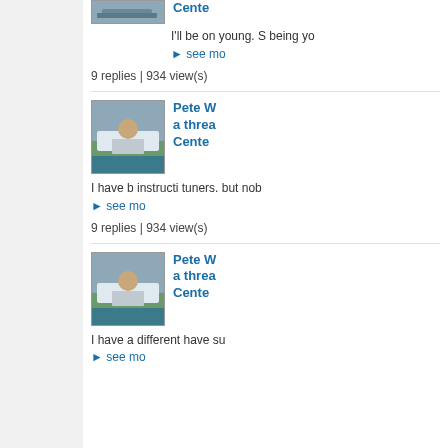[Figure (photo): Partial boat thumbnail at top of page]
Cente
I'll be on young. S being yo
▶ see mo
9 replies | 934 view(s)
[Figure (photo): Man sitting on boat dock thumbnail]
Pete W a threa Cente
I have b instructi tuners. but nob
▶ see mo
9 replies | 934 view(s)
[Figure (photo): Man sitting on boat dock thumbnail]
Pete W a threa Cente
I have a different have su
▶ see mo